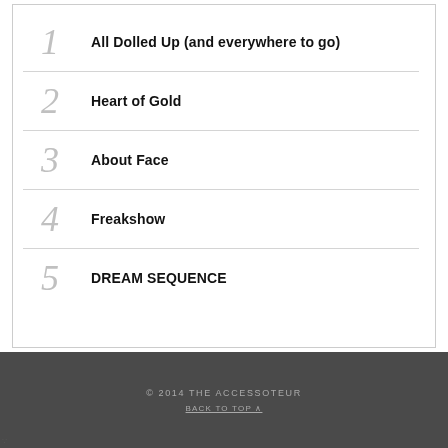1 All Dolled Up (and everywhere to go)
2 Heart of Gold
3 About Face
4 Freakshow
5 DREAM SEQUENCE
© 2014 THE ACCESSOTEUR
BACK TO TOP ∧